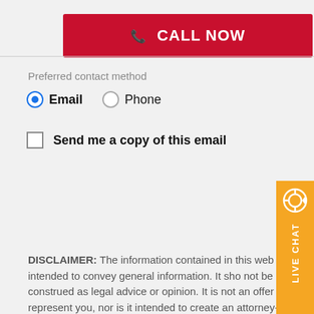[Figure (other): Red CALL NOW button with phone icon]
Preferred contact method
Email  Phone (radio buttons, Email selected)
Send me a copy of this email (checkbox unchecked)
[Figure (other): reCAPTCHA widget: protected by reCAPTCHA, Privacy - Terms, with reCAPTCHA logo]
[Figure (other): Orange LIVE CHAT tab on right side with chat icon]
DISCLAIMER: The information contained in this web site is intended to convey general information. It sho not be construed as legal advice or opinion. It is not an offer to represent you, nor is it intended to create an attorney-client relationship. The use of the internet or this contact form for communication is not necessarily a secure environment. Contacting a lawyer or law firm